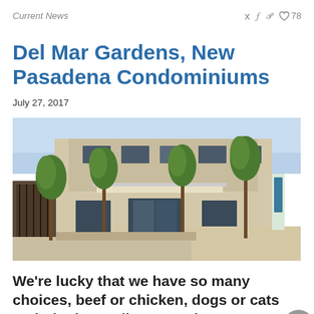Current News
Del Mar Gardens, New Pasadena Condominiums
July 27, 2017
[Figure (photo): Exterior photo of Del Mar Gardens condominium complex in Pasadena, showing a multi-story beige building with trees lining a walkway, glass entrance doors, balconies, and a gate on the left side.]
We're lucky that we have so many choices, beef or chicken, dogs or cats and Single Family or Condo? Most